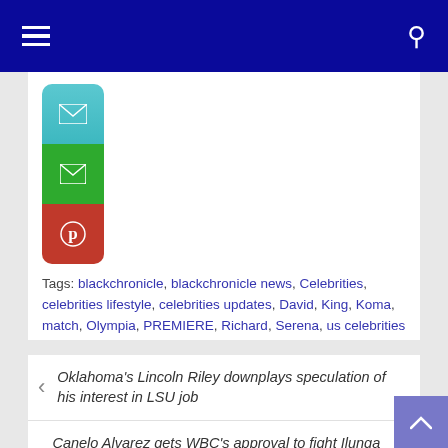Navigation bar with hamburger menu and search icon
[Figure (screenshot): Social share buttons: teal top button, green email button, red Pinterest button stacked vertically]
Tags: blackchronicle, blackchronicle news, Celebrities, celebrities lifestyle, celebrities updates, David, King, Koma, match, Olympia, PREMIERE, Richard, Serena, us celebrities news, us news, Williams
Oklahoma's Lincoln Riley downplays speculation of his interest in LSU job
Canelo Alvarez gets WBC's approval to fight Ilunga Junior Makabu for cruiserweight title